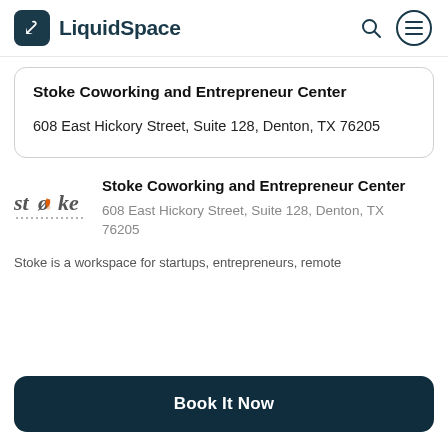LiquidSpace
Stoke Coworking and Entrepreneur Center
608 East Hickory Street, Suite 128, Denton, TX 76205
[Figure (logo): Stoke coworking logo with flame icon in orange and dotted text]
Stoke Coworking and Entrepreneur Center
608 East Hickory Street, Suite 128, Denton, TX 76205
Stoke is a workspace for startups, entrepreneurs, remote
Book It Now